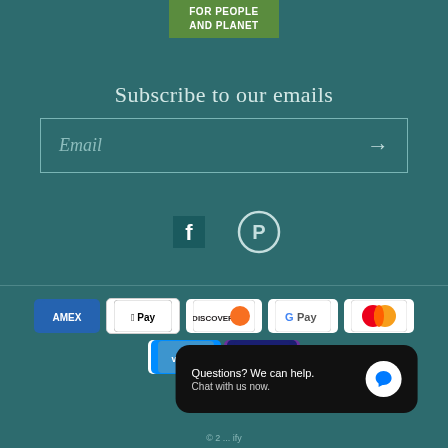[Figure (logo): Green badge logo with text FOR PEOPLE AND PLANET]
Subscribe to our emails
Email (input field with arrow/submit button)
[Figure (infographic): Social media icons: Facebook and Pinterest]
[Figure (infographic): Payment method badges: Amex, Apple Pay, Discover, Google Pay, Mastercard, PayPal, Shop Pay, Venmo, Visa]
Questions? We can help. Chat with us now.
© 2 ... ify